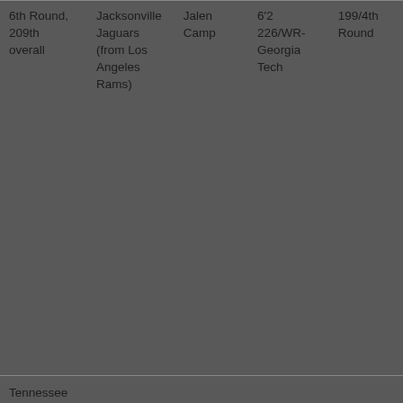| Selection | Team | Player selection | Position | School |
| --- | --- | --- | --- | --- |
| 6th Round, 209th overall | Jacksonville Jaguars (from Los Angeles Rams) | Jalen Camp | 6'2 226/WR-Georgia Tech | 199/4th Round |
| Tennessee Titans |  |  |  |  |
| Selection | Team | Player selection | Position | School |